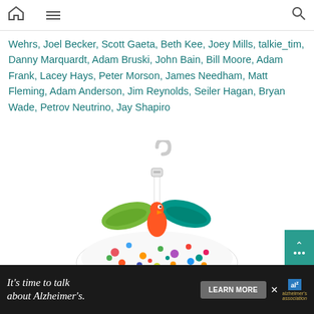Home | Menu | Search
Wehrs, Joel Becker, Scott Gaeta, Beth Kee, Joey Mills, talkie_tim, Danny Marquardt, Adam Bruski, John Bain, Bill Moore, Adam Frank, Lacey Hays, Peter Morson, James Needham, Matt Fleming, Adam Anderson, Jim Reynolds, Seiler Hagan, Bryan Wade, Petrov Neutrino, Jay Shapiro
[Figure (photo): Baby bouncer/rocker seat with colorful spotted fabric and decorative toy bird/flower attachment on top]
[Figure (infographic): Advertisement banner: It's time to talk about Alzheimer's. LEARN MORE. Alzheimer's Association logo.]